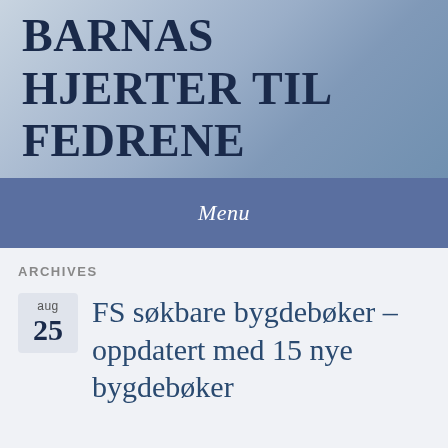BARNAS HJERTER TIL FEDRENE
Menu
ARCHIVES
aug 25
FS søkbare bygdebøker – oppdatert med 15 nye bygdebøker